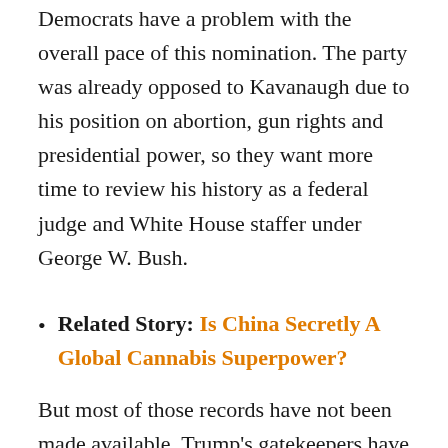Democrats have a problem with the overall pace of this nomination. The party was already opposed to Kavanaugh due to his position on abortion, gun rights and presidential power, so they want more time to review his history as a federal judge and White House staffer under George W. Bush.
Related Story: Is China Secretly A Global Cannabis Superpower?
But most of those records have not been made available. Trump's gatekeepers have prevented the necessary documents from crawling to the surface. Only documents dealing with Kavanaugh's White House days were released less than 24 hours prior to